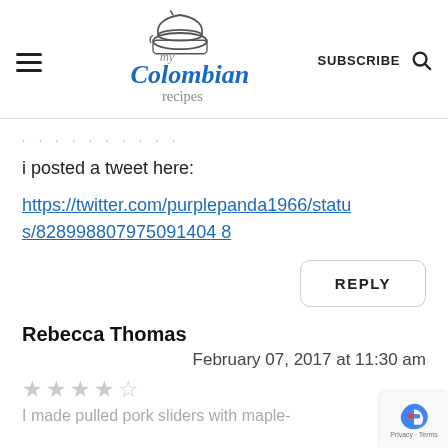my Colombian recipes | SUBSCRIBE
. . . . . . . . . .
i posted a tweet here:
https://twitter.com/purplepanda1966/status/828998807975091404 8
REPLY
Rebecca Thomas
February 07, 2017 at 11:30 am
★★★★☆
I made pulled pork sliders with maple-